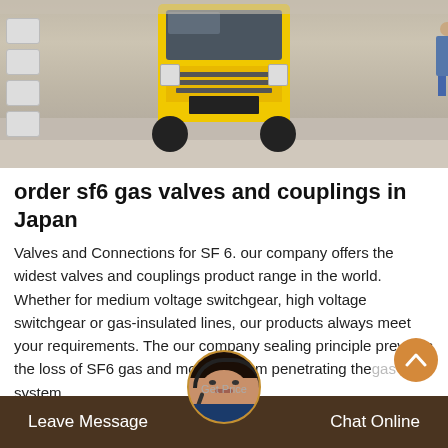[Figure (photo): Front view of a yellow truck/bus on a road, with concrete bollards on the left side and a person visible on the right side of the image.]
order sf6 gas valves and couplings in Japan
Valves and Connections for SF 6. our company offers the widest valves and couplings product range in the world. Whether for medium voltage switchgear, high voltage switchgear or gas-insulated lines, our products always meet your requirements. The our company sealing principle prevents the loss of SF6 gas and moisture from penetrating the gas system.
Leave Message    Get Price    Chat Online